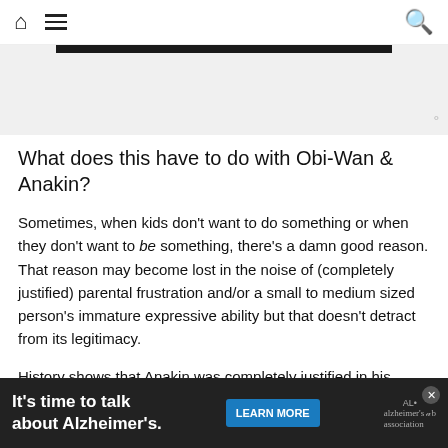Home menu search icons
[Figure (screenshot): Advertisement placeholder with dark bar at top and watermark logo at bottom right]
What does this have to do with Obi-Wan & Anakin?
Sometimes, when kids don't want to do something or when they don't want to be something, there's a damn good reason. That reason may become lost in the noise of (completely justified) parental frustration and/or a small to medium sized person's immature expressive ability but that doesn't detract from its legitimacy.
History shows that Anakin was completely justified in his hesitancy to become a Jedi. It didn't end well for anyone; not for him, nor for...
[Figure (screenshot): Bottom advertisement banner: 'It's time to talk about Alzheimer's.' with LEARN MORE button and Alzheimer's Association logo]